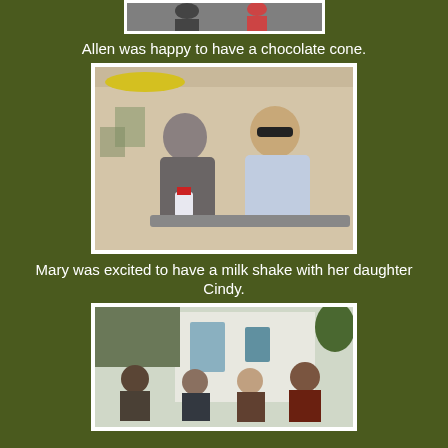[Figure (photo): Partial photo at top of page, cropped — showing people, partially visible]
Allen was happy to have a chocolate cone.
[Figure (photo): Two women sitting outdoors. One older woman holding a drink cup, one woman with sunglasses smiling. Outdoor setting with tables and umbrellas in background.]
Mary was excited to have a milk shake with her daughter Cindy.
[Figure (photo): Group of people sitting outdoors in a shaded area near a white building. Four people visible seated casually.]